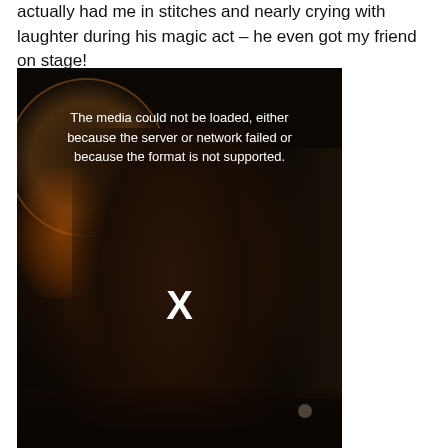actually had me in stitches and nearly crying with laughter during his magic act – he even got my friend on stage!
[Figure (photo): A performer (female) on a dark stage with fire props and spotlight, wearing a sparkly corset costume. The video media could not be loaded — an error overlay reads 'The media could not be loaded, either because the server or network failed or because the format is not supported.' with an X symbol.]